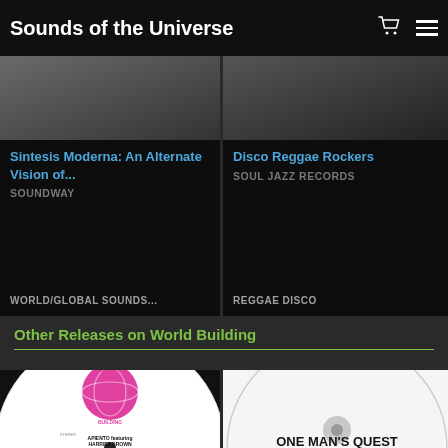Sounds of the Universe
Sintesis Moderna: An Alternate Vision of...
SOUNDWAY
WORLD/GLOBAL SOUNDS...
Disco Reggae Rockers
SOUL JAZZ RECORDS
REGGAE DISCO
Other Releases on World Building
[Figure (photo): Vinyl record for 'Down That Road' by Apiento featuring Harriet Brown on World Building label]
[Figure (photo): White label vinyl record with 'ONE MAN'S QUEST' text]